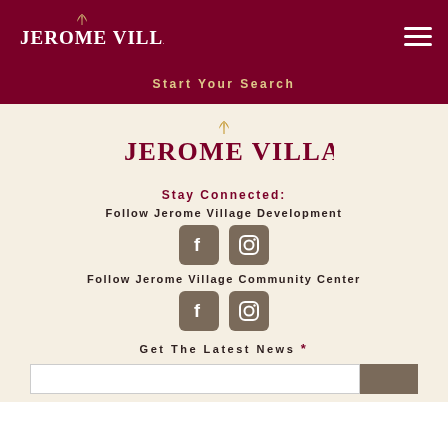Jerome Village
Start Your Search
[Figure (logo): Jerome Village color logo with wheat icon above text]
Stay Connected:
Follow Jerome Village Development
[Figure (illustration): Facebook and Instagram social media icons for Jerome Village Development]
Follow Jerome Village Community Center
[Figure (illustration): Facebook and Instagram social media icons for Jerome Village Community Center]
Get The Latest News *